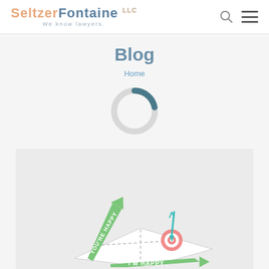SeltzerFontaine LLC — We Know Lawyers.
Blog
Home
[Figure (other): Loading spinner / donut ring — a partial dark teal arc on top with light grey rest of ring, indicating a loading state.]
[Figure (infographic): 3D perspective grid/matrix illustration with green arrows labeled 'YOU'RE HAPPY' on vertical axis and 'I'M HAPPY' on horizontal axis, with a target/bullseye hit by an arrow in the upper-right quadrant, depicted on a white tilted surface with dashed dividing lines.]